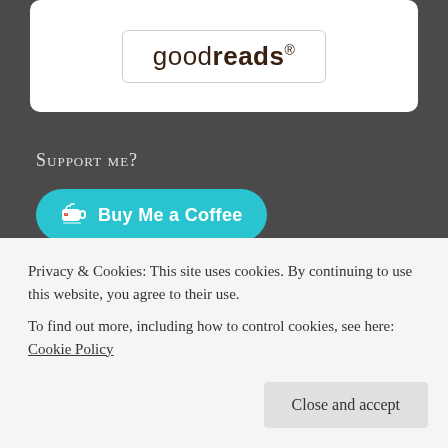[Figure (logo): Goodreads logo in a rounded rectangle box]
Support me?
[Figure (other): Buy Me a Coffee button in teal/cyan rounded pill shape with coffee cup icon]
Hot & Popular
Rejuvenate your Mental Health
Privacy & Cookies: This site uses cookies. By continuing to use this website, you agree to their use.
To find out more, including how to control cookies, see here: Cookie Policy
Close and accept